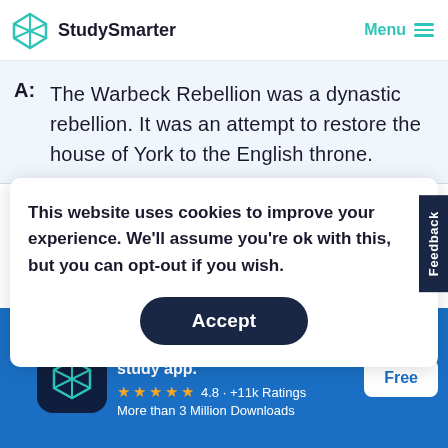[Figure (logo): StudySmarter logo with teal geometric diamond icon and 'StudySmarter' wordmark; Menu button with teal hamburger lines on the right]
A: The Warbeck Rebellion was a dynastic rebellion. It was an attempt to restore the house of York to the English throne.
This website uses cookies to improve your experience. We'll assume you're ok with this, but you can opt-out if you wish.
Accept
France to end their support for Warbeck
[Figure (screenshot): StudySmarter app promotion banner: app icon, title 'StudySmarter - The all-in-one study app.', 4.8 stars, +11k Ratings, More than 3 Million Downloads, Free button]